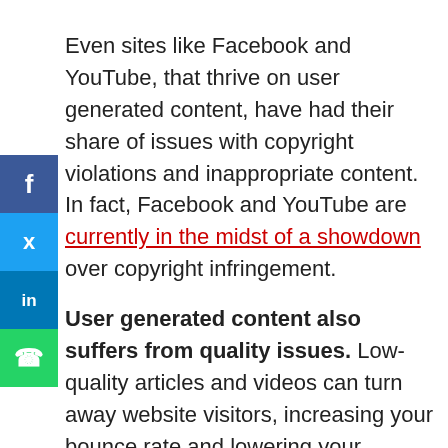[Figure (other): Social sharing sidebar with Facebook, Twitter, LinkedIn, and WhatsApp icons]
Even sites like Facebook and YouTube, that thrive on user generated content, have had their share of issues with copyright violations and inappropriate content. In fact, Facebook and YouTube are currently in the midst of a showdown over copyright infringement.
User generated content also suffers from quality issues. Low-quality articles and videos can turn away website visitors, increasing your bounce rate and lowering your rankings. In such cases, more content is not necessarily